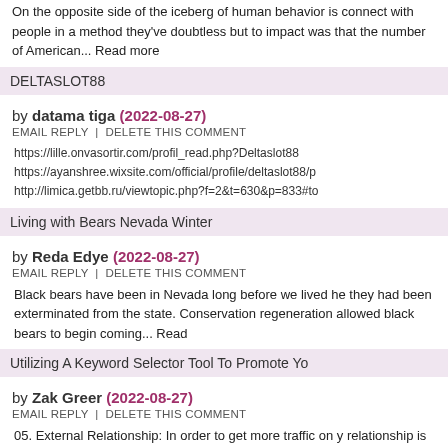On the opposite side of the iceberg of human behavior is connect with people in a method they've doubtless but to impact was that the number of American... Read more
DELTASLOT88
by datama tiga (2022-08-27)
EMAIL REPLY | DELETE THIS COMMENT
https://lille.onvasortir.com/profil_read.php?Deltaslot88
https://ayanshree.wixsite.com/official/profile/deltaslot88/p
http://limica.getbb.ru/viewtopic.php?f=2&t=630&p=833#to
Living with Bears Nevada Winter
by Reda Edye (2022-08-27)
EMAIL REPLY | DELETE THIS COMMENT
Black bears have been in Nevada long before we lived he they had been exterminated from the state. Conservation regeneration allowed black bears to begin coming... Read
Utilizing A Keyword Selector Tool To Promote Yo
by Zak Greer (2022-08-27)
EMAIL REPLY | DELETE THIS COMMENT
05. External Relationship: In order to get more traffic on y relationship is very important. To get external links to you special offer for other websites. It would... Read more